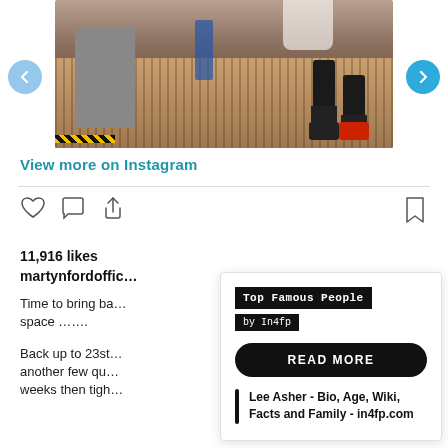[Figure (photo): Instagram post photo showing person's legs and feet in gym/workout space, with gym equipment visible, brown striped floor, caution tape strip. Navigation arrows on left and right sides.]
View more on Instagram
11,916 likes
martynfordoffic…
Time to bring ba… space …….
Back up to 23st… another few qu… weeks then tigh…
[Figure (screenshot): Overlay popup card from in4fp.com showing 'Top Famous People by In4fp' header, a READ MORE button, and a link titled 'Lee Asher - Bio, Age, Wiki, Facts and Family - in4fp.com']